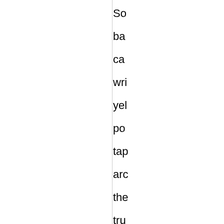So ba ca wri yel po tap arc the tru of a tre tra it in se of an an Th clo the